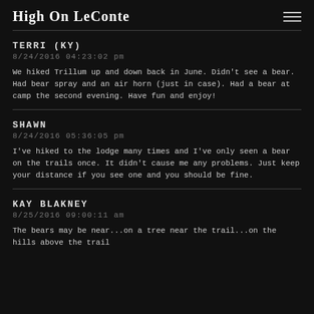High On LeConte
TERRI (KY)
8/24/2016 04:23:02 pm
We hiked Trillum up and down back in June. Didn't see a bear. Had bear spray and an air horn (just in case). Had a bear at camp the second evening. Have fun and enjoy!
SHAWN
8/24/2016 05:36:05 pm
I've hiked to the lodge many times and I've only seen a bear on the trails once. It didn't cause me any problems. Just keep your distance if you see one and you should be fine.
KAY BLAKNEY
8/25/2016 09:00:11 am
The bears may be near...